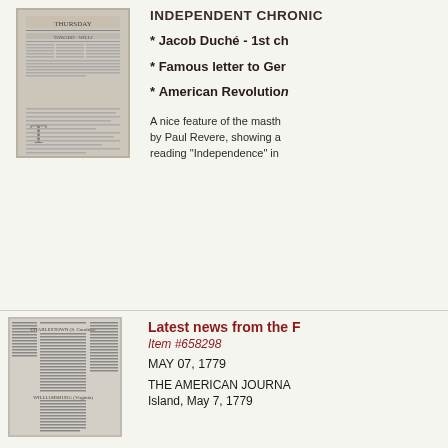[Figure (photo): Photograph of an 18th-century newspaper, showing masthead and columns of printed text]
INDEPENDENT CHRONIC
* Jacob Duché - 1st ch
* Famous letter to Ger
* American Revolution
A nice feature of the masth by Paul Revere, showing a reading "Independence" in
[Figure (photo): Photograph of an 18th-century newspaper page showing columns of text including CHARLESTOWN and WILLIAMSBURG datelines]
Latest news from the F
Item #658298
MAY 07, 1779
THE AMERICAN JOURNA Island, May 7, 1779